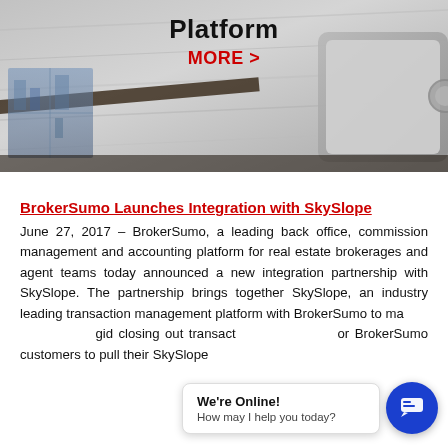[Figure (photo): Photo of a desk with a tablet device and city view in background, overlaid with bold text 'Platform' and red 'MORE >' link]
Platform
MORE >
BrokerSumo Launches Integration with SkySlope
June 27, 2017 – BrokerSumo, a leading back office, commission management and accounting platform for real estate brokerages and agent teams today announced a new integration partnership with SkySlope. The partnership brings together SkySlope, an industry leading transaction management platform with BrokerSumo to ma[king it easier for agents and] closing out transact[ions, allowing] BrokerSumo customers to pull their SkySlope